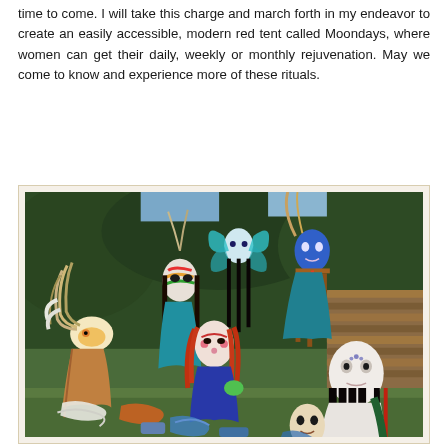time to come. I will take this charge and march forth in my endeavor to create an easily accessible, modern red tent called Moondays, where women can get their daily, weekly or monthly rejuvenation. May we come to know and experience more of these rituals.
[Figure (photo): A group of decorative ceremonial masks and costumed mannequins or figures arranged outdoors on grass, with a background of stacked firewood and green foliage. The masks include colorful face masks, feathered headdresses, and figures with long dark hair. The scene appears to be a display of ritual or theatrical costumes and masks.]